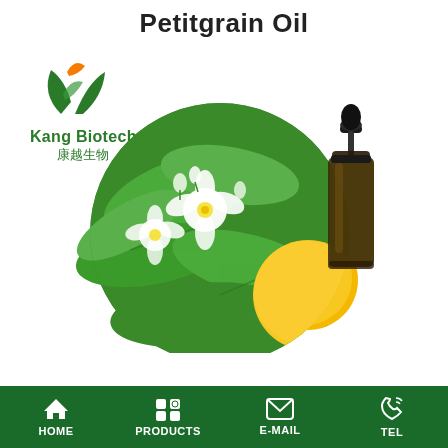Petitgrain Oil
[Figure (logo): Kang Biotech logo with green leaf design and orange accent. Text reads 'Kang Biotech' and '康越生物' in green.]
[Figure (photo): Circular photo of white orange blossom flowers with green leaves and a small amber essential oil bottle with black dropper cap on the right, with a yellow citrus fruit visible in the background.]
HOME   PRODUCTS   E-MAIL   TEL